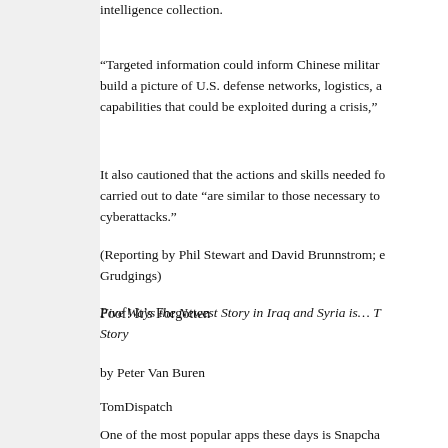intelligence collection.
“Targeted information could inform Chinese military planning, build a picture of U.S. defense networks, logistics, and capabilities that could be exploited during a crisis,”
It also cautioned that the actions and skills needed for operations carried out to date “are similar to those necessary to conduct cyberattacks.”
(Reporting by Phil Stewart and David Brunnstrom; edited by Grudgings)
Poof! It’s Forgotten
Five Ways the Newest Story in Iraq and Syria is… The Same Story
by Peter Van Buren
TomDispatch
One of the most popular apps these days is Snapcha